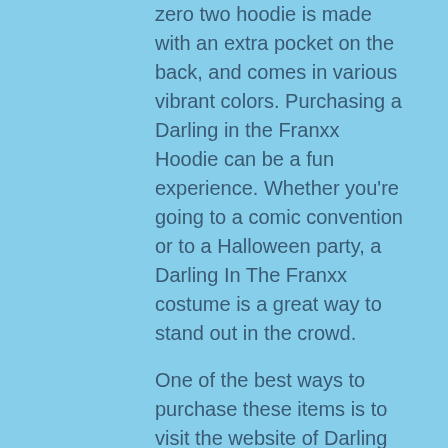zero two hoodie is made with an extra pocket on the back, and comes in various vibrant colors. Purchasing a Darling in the Franxx Hoodie can be a fun experience. Whether you're going to a comic convention or to a Halloween party, a Darling In The Franxx costume is a great way to stand out in the crowd.
One of the best ways to purchase these items is to visit the website of Darling In The Franxx and check out their merchandise. You'll find a large selection of products featuring the character and her favorite colors. If you're looking for high-quality Darling In The Franxx merch, you've come to the right place. The merch will help you look great while doing it.
https://www.darling-in-the-franxx.shop/